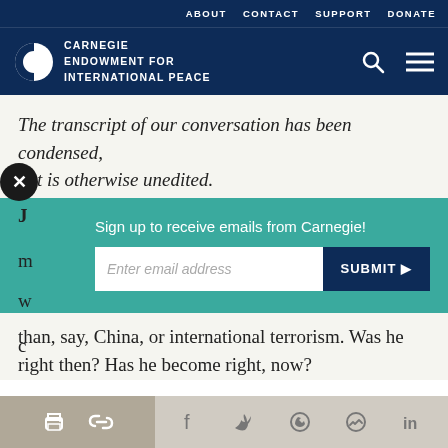ABOUT  CONTACT  SUPPORT  DONATE
[Figure (logo): Carnegie Endowment for International Peace logo with circular icon and text]
The transcript of our conversation has been condensed, but is otherwise unedited.
Sign up to receive emails from Carnegie!
than, say, China, or international terrorism. Was he right then? Has he become right, now?
Social sharing bar with print, link, Facebook, Twitter, WhatsApp, Messenger, LinkedIn icons